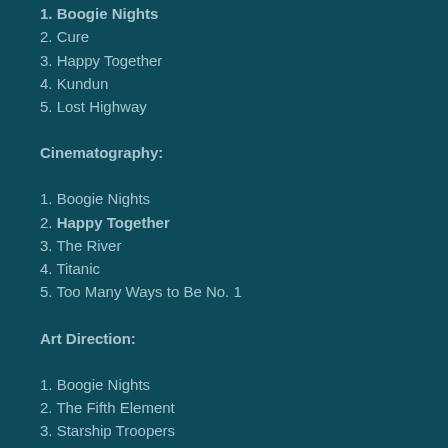1. Boogie Nights (partial, cut off at top)
2. Cure
3. Happy Together
4. Kundun
5. Lost Highway
Cinematography:
1. Boogie Nights
2. Happy Together
3. The River
4. Titanic
5. Too Many Ways to Be No. 1
Art Direction:
1. Boogie Nights
2. The Fifth Element
3. Starship Troopers
4. Titanic
5. Twilight of the Ice Nymphs
Costume Design: